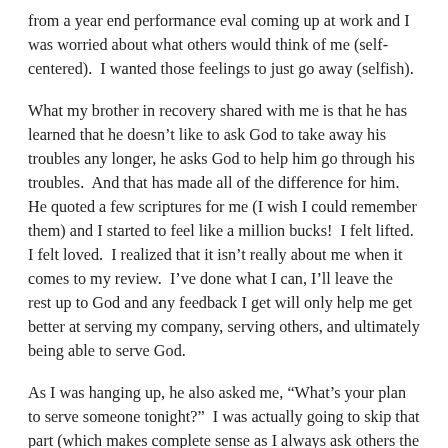from a year end performance eval coming up at work and I was worried about what others would think of me (self-centered).  I wanted those feelings to just go away (selfish).
What my brother in recovery shared with me is that he has learned that he doesn't like to ask God to take away his troubles any longer, he asks God to help him go through his troubles.  And that has made all of the difference for him.  He quoted a few scriptures for me (I wish I could remember them) and I started to feel like a million bucks!  I felt lifted.  I felt loved.  I realized that it isn't really about me when it comes to my review.  I've done what I can, I'll leave the rest up to God and any feedback I get will only help me get better at serving my company, serving others, and ultimately being able to serve God.
As I was hanging up, he also asked me, “What’s your plan to serve someone tonight?”  I was actually going to skip that part (which makes complete sense as I always ask others the same question).  But that’s why we have support — we need the help.  By him asking me, I thought of others.  We came up with a plan that would be helpful to my family and I set out to